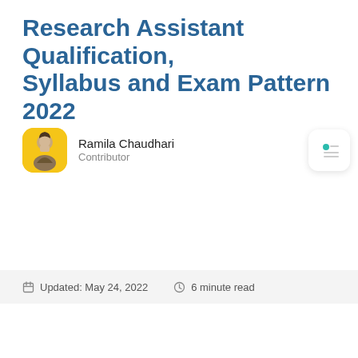Research Assistant Qualification, Syllabus and Exam Pattern 2022
Ramila Chaudhari
Contributor
Updated: May 24, 2022   6 minute read